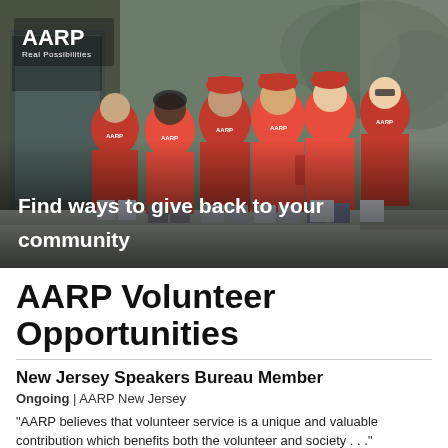[Figure (photo): Group of AARP volunteers wearing red AARP polo shirts walking together outdoors near a building with AARP signage. Text overlay reads 'Find ways to give back to your community'.]
AARP Volunteer Opportunities
New Jersey Speakers Bureau Member
Ongoing | AARP New Jersey
“AARP believes that volunteer service is a unique and valuable contribution which benefits both the volunteer and society . . .”